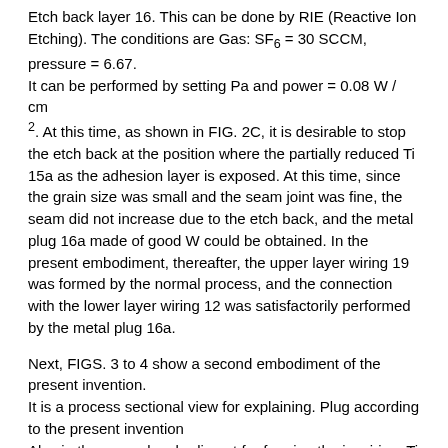Etch back layer 16. This can be done by RIE (Reactive Ion Etching). The conditions are Gas: SF6 = 30 SCCM, pressure = 6.67. It can be performed by setting Pa and power = 0.08 W / cm2. At this time, as shown in FIG. 2C, it is desirable to stop the etch back at the position where the partially reduced Ti 15a as the adhesion layer is exposed. At this time, since the grain size was small and the seam joint was fine, the seam did not increase due to the etch back, and the metal plug 16a made of good W could be obtained. In the present embodiment, thereafter, the upper layer wiring 19 was formed by the normal process, and the connection with the lower layer wiring 12 was satisfactorily performed by the metal plug 16a.
Next, FIGS. 3 to 4 show a second embodiment of the present invention. It is a process sectional view for explaining. Plug according to the present invention Also in the second embodiment for forming the in-wiring, Ti formed by the SITOX method is used. Si2The formation up to the film 28 is performed according to the first embodiment shown in FIG.